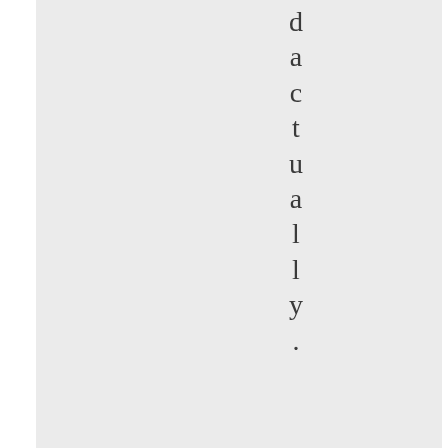d a c t u a l l y .
[Figure (other): A blue star icon with the word 'Like' beneath it]
Advertisements
[Figure (other): MAC cosmetics advertisement banner showing lipsticks in purple, peach, pink colors with MAC logo and SHOP NOW button]